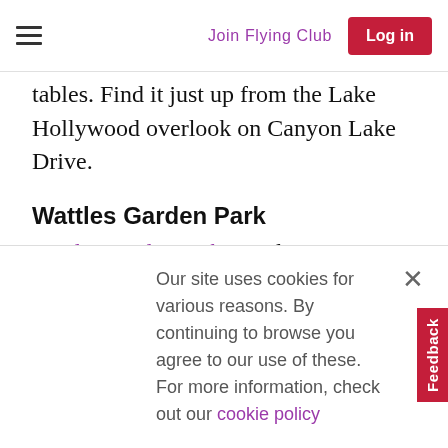Join Flying Club | Log in
tables. Find it just up from the Lake Hollywood overlook on Canyon Lake Drive.
Wattles Garden Park
Wattles Garden Park is a place Angelenos regard as their own little secret. Located in the heart of Hollywood, at the far southern tip of Runyon Canyon, the recently restored park is home to
Our site uses cookies for various reasons. By continuing to browse you agree to our use of these. For more information, check out our cookie policy